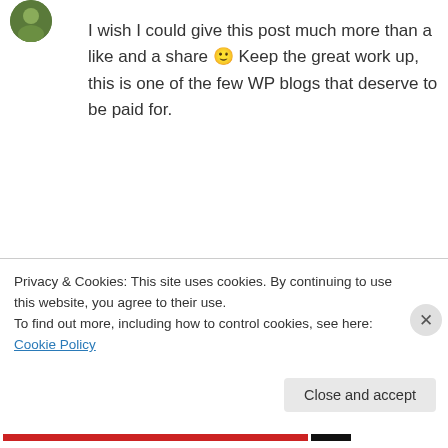I wish I could give this post much more than a like and a share 🙂 Keep the great work up, this is one of the few WP blogs that deserve to be paid for.
↳ Reply
Barmy Rootstock (IBMP) on February 11, 2012 at 9:47 pm
Privacy & Cookies: This site uses cookies. By continuing to use this website, you agree to their use.
To find out more, including how to control cookies, see here: Cookie Policy
Close and accept